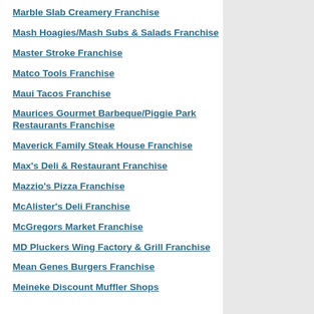Marble Slab Creamery Franchise
Mash Hoagies/Mash Subs & Salads Franchise
Master Stroke Franchise
Matco Tools Franchise
Maui Tacos Franchise
Maurices Gourmet Barbeque/Piggie Park Restaurants Franchise
Maverick Family Steak House Franchise
Max's Deli & Restaurant Franchise
Mazzio's Pizza Franchise
McAlister's Deli Franchise
McGregors Market Franchise
MD Pluckers Wing Factory & Grill Franchise
Mean Genes Burgers Franchise
Meineke Discount Muffler Shops